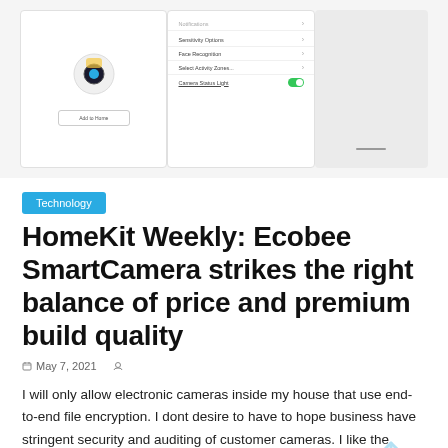[Figure (screenshot): Three smartphone screenshots showing Ecobee SmartCamera app interface: left shows camera setup screen with Add to Home button, middle shows settings menu with options like Sensitivity, Face Recognition, Select Activity Zones, and Camera Status Light toggle (green/on), right shows a blank/minimal screen.]
Technology
HomeKit Weekly: Ecobee SmartCamera strikes the right balance of price and premium build quality
May 7, 2021
I will only allow electronic cameras inside my house that use end-to-end file encryption. I dont desire to have to hope business have stringent security and auditing of customer cameras. I like the system to be developed where they dont need high security for client video